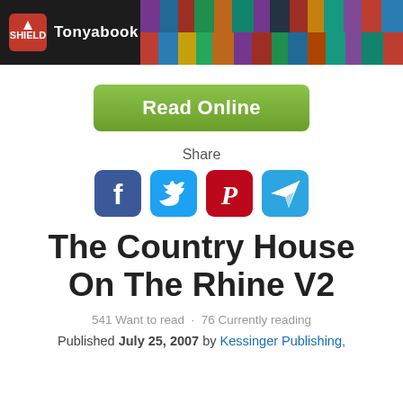Tonyabook
[Figure (other): Green Read Online button]
Share
[Figure (infographic): Social share icons: Facebook, Twitter, Pinterest, Telegram]
The Country House On The Rhine V2
541 Want to read · 76 Currently reading
Published July 25, 2007 by Kessinger Publishing,